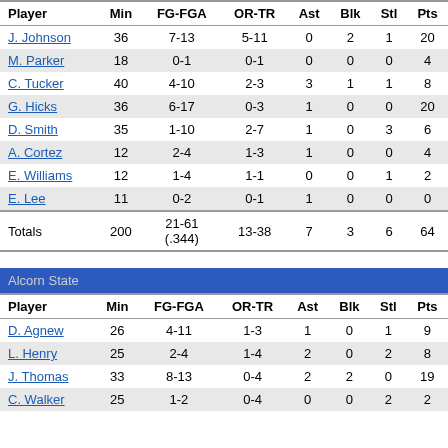| Player | Min | FG-FGA | OR-TR | Ast | Blk | Stl | Pts |
| --- | --- | --- | --- | --- | --- | --- | --- |
| J. Johnson | 36 | 7-13 | 5-11 | 0 | 2 | 1 | 20 |
| M. Parker | 18 | 0-1 | 0-1 | 0 | 0 | 0 | 4 |
| C. Tucker | 40 | 4-10 | 2-3 | 3 | 1 | 1 | 8 |
| G. Hicks | 36 | 6-17 | 0-3 | 1 | 0 | 0 | 20 |
| D. Smith | 35 | 1-10 | 2-7 | 1 | 0 | 3 | 6 |
| A. Cortez | 12 | 2-4 | 1-3 | 1 | 0 | 0 | 4 |
| E. Williams | 12 | 1-4 | 1-1 | 0 | 0 | 1 | 2 |
| E. Lee | 11 | 0-2 | 0-1 | 1 | 0 | 0 | 0 |
| Totals | 200 | 21-61 (.344) | 13-38 | 7 | 3 | 6 | 64 |
Alcorn State
| Player | Min | FG-FGA | OR-TR | Ast | Blk | Stl | Pts |
| --- | --- | --- | --- | --- | --- | --- | --- |
| D. Agnew | 26 | 4-11 | 1-3 | 1 | 0 | 1 | 9 |
| L. Henry | 25 | 2-4 | 1-4 | 2 | 0 | 2 | 8 |
| J. Thomas | 33 | 8-13 | 0-4 | 2 | 2 | 0 | 19 |
| C. Walker | 25 | 1-2 | 0-4 | 0 | 0 | 2 | 2 |